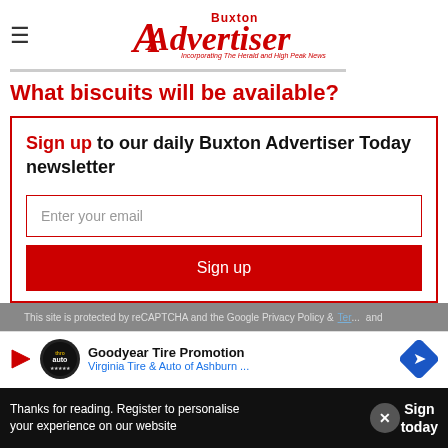Buxton Advertiser — Incorporating The Herald and High Peak News
What biscuits will be available?
Sign up to our daily Buxton Advertiser Today newsletter
Enter your email
Sign up
This site is protected by reCAPTCHA and the Google Privacy Policy and Terms of Service apply.
[Figure (infographic): Goodyear Tire Promotion ad banner — Virginia Tire & Auto of Ashburn ...]
Thanks for reading. Register to personalise your experience on our website
Sign today